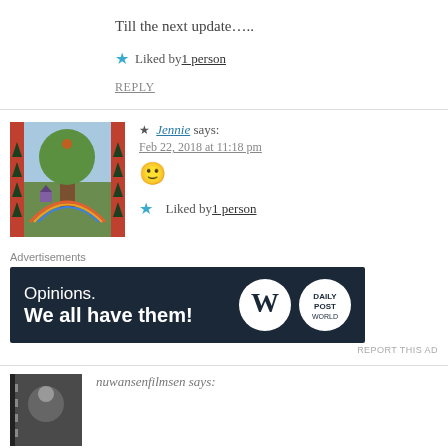Till the next update…..
★ Liked by 1 person
REPLY
★ Jennie says:
Feb 22, 2018 at 11:18 pm
🙂
★ Liked by 1 person
Advertisements
[Figure (screenshot): WordPress advertisement banner: 'Opinions. We all have them!' with WordPress and brand logos on dark background]
REPORT THIS AD
nuwansenfilmsen says: